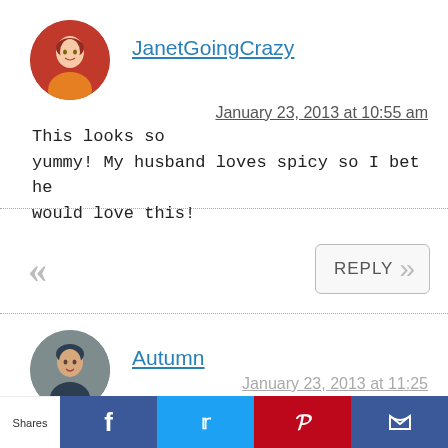[Figure (photo): Circular avatar photo of JanetGoingCrazy, woman in orange top]
JanetGoingCrazy
January 23, 2013 at 10:55 am
This looks so yummy! My husband loves spicy so I bet he would love this!
[Figure (other): Navigation chevron left (<<) and Reply button with chevron right (>>)]
[Figure (photo): Circular avatar photo of Autumn, woman with dark hair]
Autumn
January 23, 2013 at 11:25 am
[Figure (other): Social sharing bar with Shares label, Facebook, Twitter, Pinterest, and other share buttons]